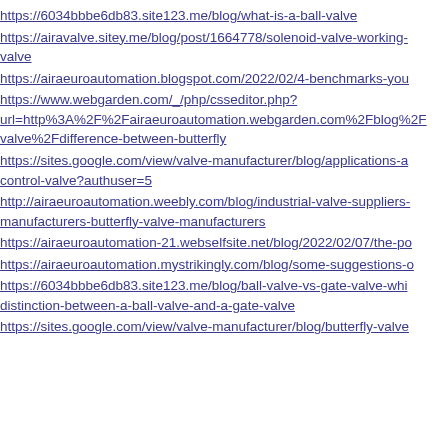https://6034bbbe6db83.site123.me/blog/what-is-a-ball-valve
https://airavalve.sitey.me/blog/post/1664778/solenoid-valve-working-valve
https://airaeuroautomation.blogspot.com/2022/02/4-benchmarks-you
https://www.webgarden.com/_/php/csseditor.php?url=http%3A%2F%2Fairaeuroautomation.webgarden.com%2Fblog%2Fvalve%2Fdifference-between-butterfly
https://sites.google.com/view/valve-manufacturer/blog/applications-a-control-valve?authuser=5
http://airaeuroautomation.weebly.com/blog/industrial-valve-suppliers-manufacturers-butterfly-valve-manufacturers
https://airaeuroautomation-21.webselfsite.net/blog/2022/02/07/the-po
https://airaeuroautomation.mystrikingly.com/blog/some-suggestions-o
https://6034bbbe6db83.site123.me/blog/ball-valve-vs-gate-valve-whi-distinction-between-a-ball-valve-and-a-gate-valve
https://sites.google.com/view/valve-manufacturer/blog/butterfly-valve